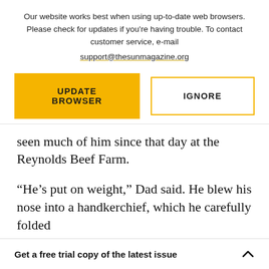Our website works best when using up-to-date web browsers. Please check for updates if you're having trouble. To contact customer service, e-mail support@thesunmagazine.org
[Figure (other): Two buttons: a yellow filled button labeled UPDATE BROWSER and a yellow-outlined white button labeled IGNORE]
seen much of him since that day at the Reynolds Beef Farm.
“He’s put on weight,” Dad said. He blew his nose into a handkerchief, which he carefully folded into a square and then into his chest pocket.
Get a free trial copy of the latest issue